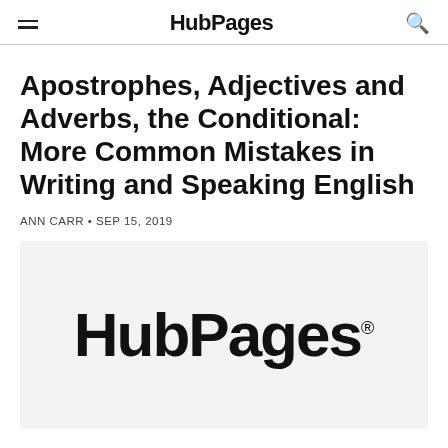HubPages
Apostrophes, Adjectives and Adverbs, the Conditional: More Common Mistakes in Writing and Speaking English
ANN CARR • SEP 15, 2019
[Figure (logo): HubPages logo — the word HubPages in large cursive/script font with a registered trademark symbol, on a light grey background.]